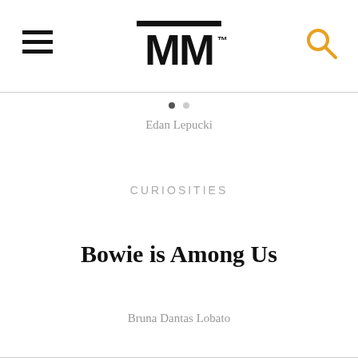[Figure (logo): MM logo with double horizontal bar on top and TM superscript, hamburger menu icon on left, search/magnifying glass icon on right in orange]
Edan Lepucki
CURIOSITIES
Bowie is Among Us
Bruna Dantas Lobato